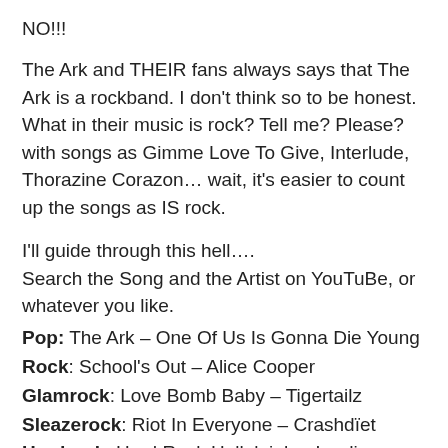NO!!!
The Ark and THEIR fans always says that The Ark is a rockband. I don't think so to be honest.
What in their music is rock? Tell me? Please?
with songs as Gimme Love To Give, Interlude, Thorazine Corazon… wait, it's easier to count up the songs as IS rock.
I'll guide through this hell….
Search the Song and the Artist on YouTuBe, or whatever you like.
Pop: The Ark – One Of Us Is Gonna Die Young
Rock: School's Out – Alice Cooper
Glamrock: Love Bomb Baby – Tigertailz
Sleazerock: Riot In Everyone – Crashdïet
Hardrock: Hard Rock Hallelujah – Lordi